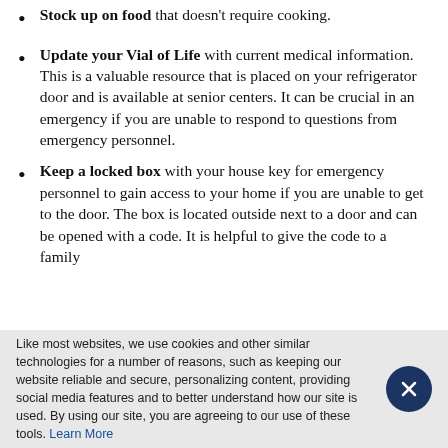Stock up on food that doesn't require cooking.
Update your Vial of Life with current medical information. This is a valuable resource that is placed on your refrigerator door and is available at senior centers. It can be crucial in an emergency if you are unable to respond to questions from emergency personnel.
Keep a locked box with your house key for emergency personnel to gain access to your home if you are unable to get to the door. The box is located outside next to a door and can be opened with a code. It is helpful to give the code to a family
Like most websites, we use cookies and other similar technologies for a number of reasons, such as keeping our website reliable and secure, personalizing content, providing social media features and to better understand how our site is used. By using our site, you are agreeing to our use of these tools. Learn More